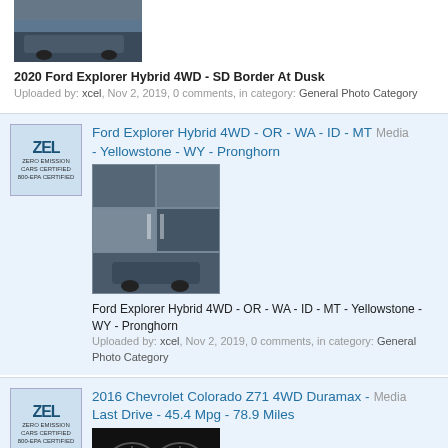[Figure (photo): Thumbnail of Ford Explorer Hybrid 4WD at SD Border at Dusk]
2020 Ford Explorer Hybrid 4WD - SD Border At Dusk
Uploaded by: xcel, Nov 2, 2019, 0 comments, in category: General Photo Category
Ford Explorer Hybrid 4WD - OR - WA - ID - MT - Yellowstone - WY - Pronghorn
[Figure (photo): Collage of road trip photos for Ford Explorer Hybrid 4WD trip through OR, WA, ID, MT, Yellowstone, WY, Pronghorn]
Ford Explorer Hybrid 4WD - OR - WA - ID - MT - Yellowstone - WY - Pronghorn
Uploaded by: xcel, Nov 2, 2019, 0 comments, in category: General Photo Category
2016 Chevrolet Colorado Z71 4WD Duramax - Last Drive - 45.4 Mpg - 78.9 Miles
[Figure (photo): Dashboard instrument cluster showing fuel economy stats for 2016 Chevrolet Colorado Z71 4WD Duramax]